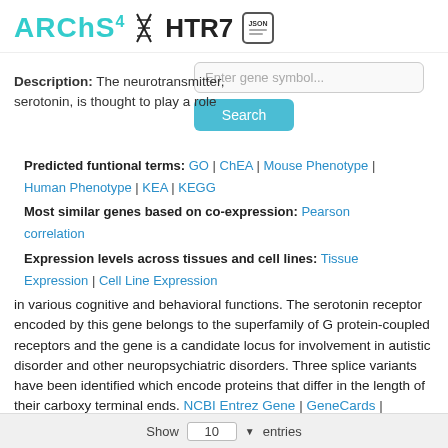ARCHs4 HTR7 [JSON icon]
Description: The neurotransmitter, serotonin, is thought to play a role
Predicted funtional terms: GO | ChEA | Mouse Phenotype | Human Phenotype | KEA | KEGG
Most similar genes based on co-expression: Pearson correlation
Expression levels across tissues and cell lines: Tissue Expression | Cell Line Expression
in various cognitive and behavioral functions. The serotonin receptor encoded by this gene belongs to the superfamily of G protein-coupled receptors and the gene is a candidate locus for involvement in autistic disorder and other neuropsychiatric disorders. Three splice variants have been identified which encode proteins that differ in the length of their carboxy terminal ends. NCBI Entrez Gene | GeneCards | Harmonizome
Show 10 entries